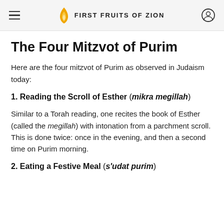FIRST FRUITS OF ZION
The Four Mitzvot of Purim
Here are the four mitzvot of Purim as observed in Judaism today:
1. Reading the Scroll of Esther (mikra megillah)
Similar to a Torah reading, one recites the book of Esther (called the megillah) with intonation from a parchment scroll. This is done twice: once in the evening, and then a second time on Purim morning.
2. Eating a Festive Meal (s’udat purim)